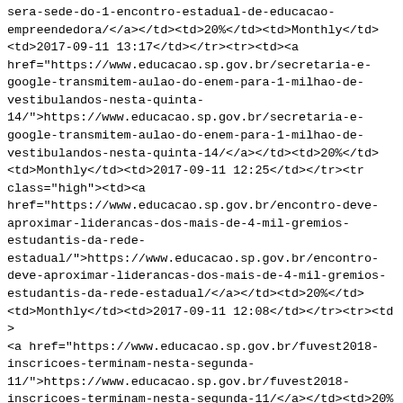sera-sede-do-1-encontro-estadual-de-educacao-empreendedora/</a></td><td>20%</td><td>Monthly</td><td>2017-09-11 13:17</td></tr><tr><td><a href="https://www.educacao.sp.gov.br/secretaria-e-google-transmitem-aulao-do-enem-para-1-milhao-de-vestibulandos-nesta-quinta-14/">https://www.educacao.sp.gov.br/secretaria-e-google-transmitem-aulao-do-enem-para-1-milhao-de-vestibulandos-nesta-quinta-14/</a></td><td>20%</td><td>Monthly</td><td>2017-09-11 12:25</td></tr><tr class="high"><td><a href="https://www.educacao.sp.gov.br/encontro-deve-aproximar-liderancas-dos-mais-de-4-mil-gremios-estudantis-da-rede-estadual/">https://www.educacao.sp.gov.br/encontro-deve-aproximar-liderancas-dos-mais-de-4-mil-gremios-estudantis-da-rede-estadual/</a></td><td>20%</td><td>Monthly</td><td>2017-09-11 12:08</td></tr><tr><td><a href="https://www.educacao.sp.gov.br/fuvest2018-inscricoes-terminam-nesta-segunda-11/">https://www.educacao.sp.gov.br/fuvest2018-inscricoes-terminam-nesta-segunda-11/</a></td><td>20%</td><td>Monthly</td><td>2017-09-11 12:00</td></tr><tr class="high"><td><a href="https://www.educacao.sp.gov.br/jovens-compositores-ganham-nova-oportunidade-de-gravar-uma-musica-com-rick-bonadio/">https://www.educacao.sp.gov.br/jovens-compositores-ganham-nova-oportunidade-de-gravar-uma-musica-com-rick-bonadio/</a></td><td>20%</td>